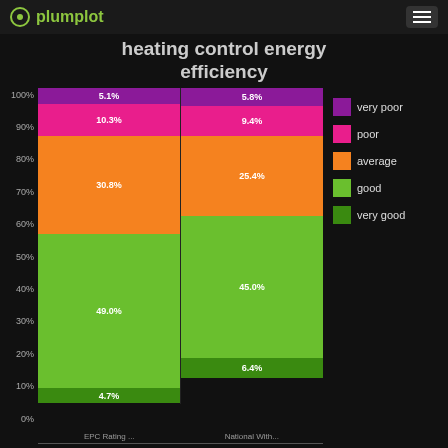plumplot
heating control energy efficiency
[Figure (stacked-bar-chart): heating control energy efficiency]